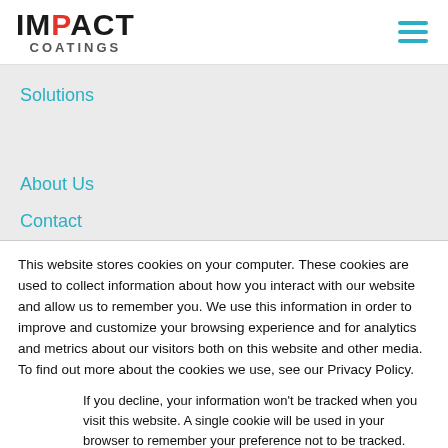[Figure (logo): Impact Coatings logo with IMPACT in bold black letters, P in red, and COATINGS in grey below]
Solutions
About Us
Contact
This website stores cookies on your computer. These cookies are used to collect information about how you interact with our website and allow us to remember you. We use this information in order to improve and customize your browsing experience and for analytics and metrics about our visitors both on this website and other media. To find out more about the cookies we use, see our Privacy Policy.
If you decline, your information won't be tracked when you visit this website. A single cookie will be used in your browser to remember your preference not to be tracked.